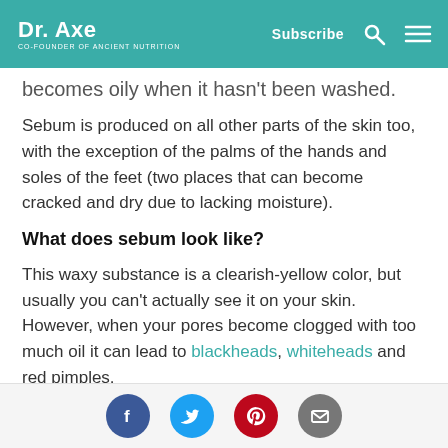Dr. Axe — Co-Founder of Ancient Nutrition | Subscribe
becomes oily when it hasn't been washed.
Sebum is produced on all other parts of the skin too, with the exception of the palms of the hands and soles of the feet (two places that can become cracked and dry due to lacking moisture).
What does sebum look like?
This waxy substance is a clearish-yellow color, but usually you can't actually see it on your skin. However, when your pores become clogged with too much oil it can lead to blackheads, whiteheads and red pimples.